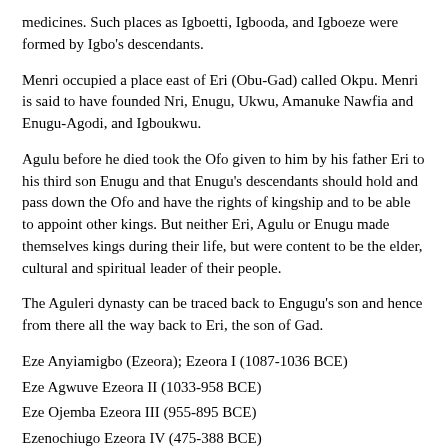medicines. Such places as Igboetti, Igbooda, and Igboeze were formed by Igbo's descendants.
Menri occupied a place east of Eri (Obu-Gad) called Okpu. Menri is said to have founded Nri, Enugu, Ukwu, Amanuke Nawfia and Enugu-Agodi, and Igboukwu.
Agulu before he died took the Ofo given to him by his father Eri to his third son Enugu and that Enugu's descendants should hold and pass down the Ofo and have the rights of kingship and to be able to appoint other kings. But neither Eri, Agulu or Enugu made themselves kings during their life, but were content to be the elder, cultural and spiritual leader of their people.
The Aguleri dynasty can be traced back to Engugu's son and hence from there all the way back to Eri, the son of Gad.
Eze Anyiamigbo (Ezeora); Ezeora I (1087-1036 BCE)
Eze Agwuve Ezeora II (1033-958 BCE)
Eze Ojemba Ezeora III (955-895 BCE)
Ezenochiugo Ezeora IV (475-388 BCE)